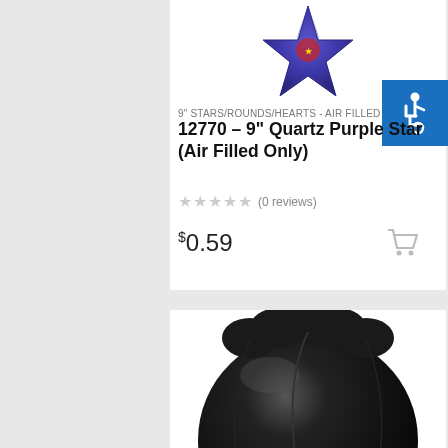[Figure (photo): Purple star-shaped mylar balloon (air filled only), cropped at top of page]
9" STARS/ROUNDS/HEARTS - AIR FILLED
12770 – 9" Quartz Purple Star (Air Filled Only)
★★★★★ (0 reviews)
$0.59
[Figure (photo): Black round mylar balloon, partially cropped at bottom of page]